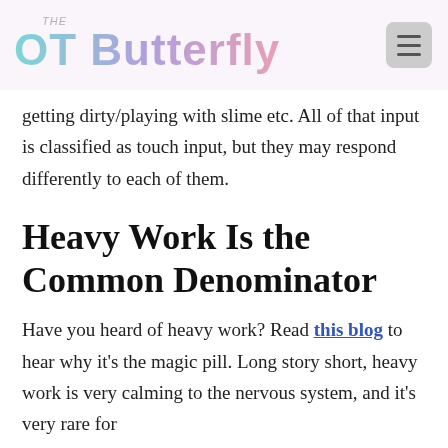THE OT Butterfly
getting dirty/playing with slime etc. All of that input is classified as touch input, but they may respond differently to each of them.
Heavy Work Is the Common Denominator
Have you heard of heavy work? Read this blog to hear why it's the magic pill. Long story short, heavy work is very calming to the nervous system, and it's very rare for